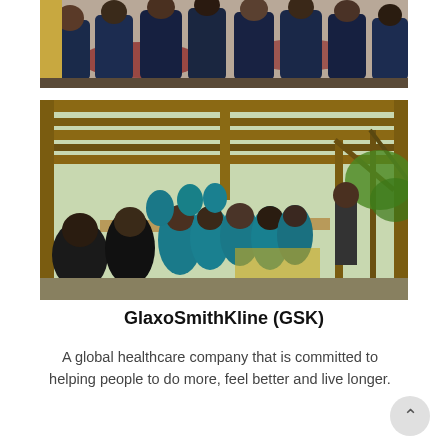[Figure (photo): Indoor meeting/banquet scene with people seated at round tables, viewed from behind, in dark blue tops]
[Figure (photo): Outdoor meeting under a wooden pergola structure, with a group of people in teal/blue uniforms seated around tables, a presenter standing to the right]
GlaxoSmithKline (GSK)
A global healthcare company that is committed to helping people to do more, feel better and live longer.